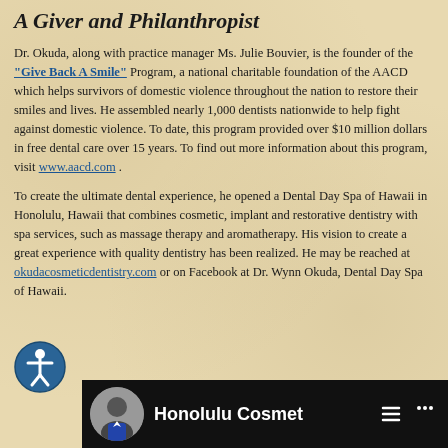A Giver and Philanthropist
Dr. Okuda, along with practice manager Ms. Julie Bouvier, is the founder of the "Give Back A Smile" Program, a national charitable foundation of the AACD which helps survivors of domestic violence throughout the nation to restore their smiles and lives. He assembled nearly 1,000 dentists nationwide to help fight against domestic violence. To date, this program provided over $10 million dollars in free dental care over 15 years. To find out more information about this program, visit www.aacd.com .
To create the ultimate dental experience, he opened a Dental Day Spa of Hawaii in Honolulu, Hawaii that combines cosmetic, implant and restorative dentistry with spa services, such as massage therapy and aromatherapy. His vision to create a great experience with quality dentistry has been realized. He may be reached at okudacosmeticdentistry.com or on Facebook at Dr. Wynn Okuda, Dental Day Spa of Hawaii.
[Figure (screenshot): Video thumbnail showing a person and text reading 'Honolulu Cosmet' with dark background]